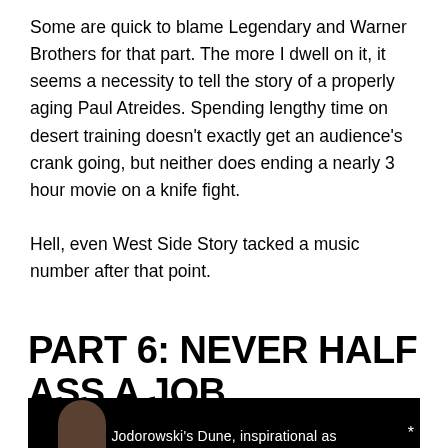Some are quick to blame Legendary and Warner Brothers for that part. The more I dwell on it, it seems a necessity to tell the story of a properly aging Paul Atreides. Spending lengthy time on desert training doesn't exactly get an audience's crank going, but neither does ending a nearly 3 hour movie on a knife fight.

Hell, even West Side Story tacked a music number after that point.
PART 6: NEVER HALF ASS A JOB
[Figure (photo): Dark/black background image showing a person's face on the left side with text reading "Jodorowski's Dune, inspirational as" partially visible at the bottom, with an asterisk at the right.]